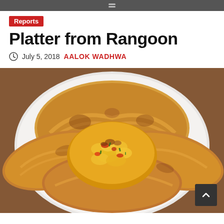Reports
Platter from Rangoon
July 5, 2018  AALOK WADHWA
[Figure (photo): A plate of food showing a golden-brown layered flatbread (paratha/roti canai) arranged in a flower-like pattern on a white plate, topped with a mound of scrambled eggs cooked with tomatoes, onions and spices. The plate is on a wooden surface.]